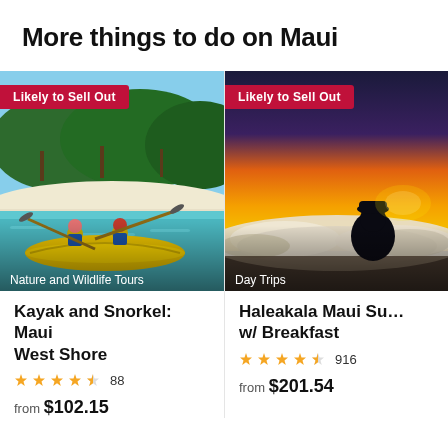More things to do on Maui
[Figure (photo): Two people kayaking in yellow kayak on clear turquoise water with white sand beach and palm trees in background. Badge: Likely to Sell Out. Category label: Nature and Wildlife Tours.]
Kayak and Snorkel: Maui West Shore
★★★★½ 88
from $102.15
[Figure (photo): Person silhouetted against dramatic orange and yellow sunset sky above clouds. Badge: Likely to Sell Out. Category label: Day Trips.]
Haleakala Maui Su… w/ Breakfast
★★★★½ 916
from $201.54